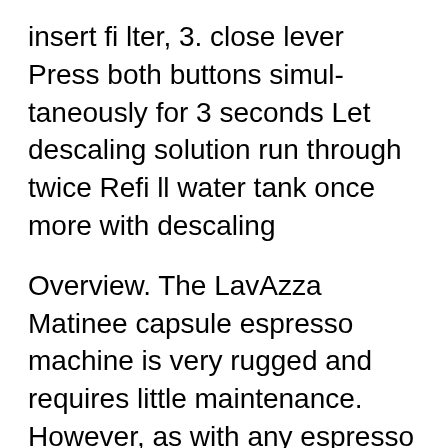insert filter, 3. close lever Press both buttons simul-taneously for 3 seconds Let descaling solution run through twice Refill water tank once more with descaling
Overview. The LavAzza Matinee capsule espresso machine is very rugged and requires little maintenance. However, as with any espresso machine minerals in your water can cause scale deposits inside the machine which can lead to performance and even maintenance issues. Therefore, to maintain optimum brewing performance and machine longevity it is best to descale this machine on a regular ... Nespresso. 209 Problems and Solutions After descaling